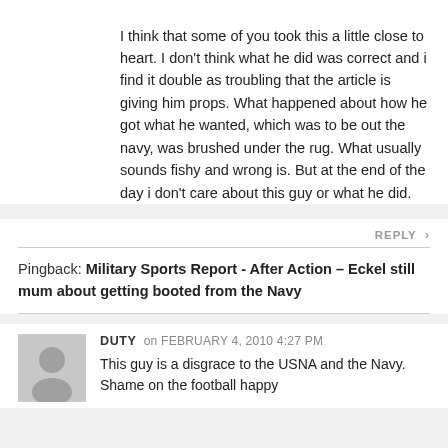I think that some of you took this a little close to heart. I don't think what he did was correct and i find it double as troubling that the article is giving him props. What happened about how he got what he wanted, which was to be out the navy, was brushed under the rug. What usually sounds fishy and wrong is. But at the end of the day i don't care about this guy or what he did.
REPLY >
Pingback: Military Sports Report - After Action – Eckel still mum about getting booted from the Navy
DUTY on FEBRUARY 4, 2010 4:27 PM
This guy is a disgrace to the USNA and the Navy. Shame on the football happy